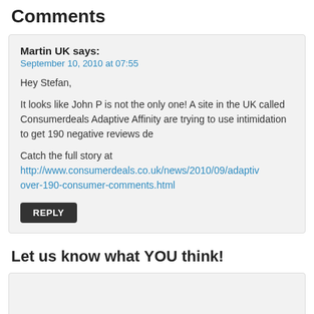Comments
Martin UK says:
September 10, 2010 at 07:55
Hey Stefan,
It looks like John P is not the only one! A site in the UK called Consumerdeals Adaptive Affinity are trying to use intimidation to get 190 negative reviews de
Catch the full story at http://www.consumerdeals.co.uk/news/2010/09/adaptiv over-190-consumer-comments.html
REPLY
Let us know what YOU think!